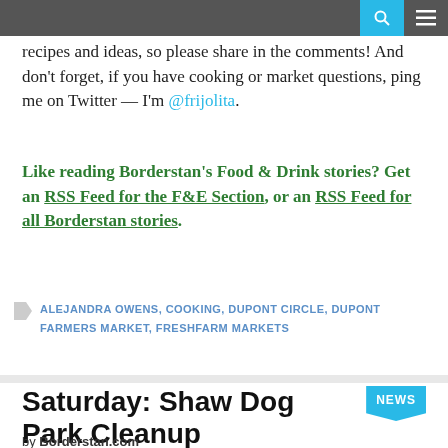[Navigation bar with search and menu icons]
recipes and ideas, so please share in the comments! And don't forget, if you have cooking or market questions, ping me on Twitter — I'm @frijolita.
Like reading Borderstan's Food & Drink stories? Get an RSS Feed for the F&E Section, or an RSS Feed for all Borderstan stories.
ALEJANDRA OWENS, COOKING, DUPONT CIRCLE, DUPONT FARMERS MARKET, FRESHFARM MARKETS
Saturday: Shaw Dog Park Cleanup
by Borderstan.com
April 27, 2012 at 1:00 pm  1,367  No Comments